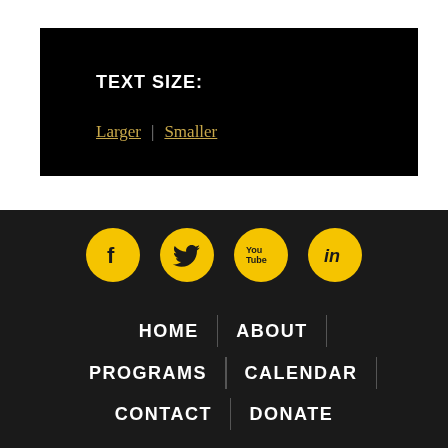TEXT SIZE:
Larger | Smaller
[Figure (infographic): Social media icons: Facebook, Twitter, YouTube, LinkedIn — yellow circles on dark background]
HOME | ABOUT
PROGRAMS | CALENDAR
CONTACT | DONATE